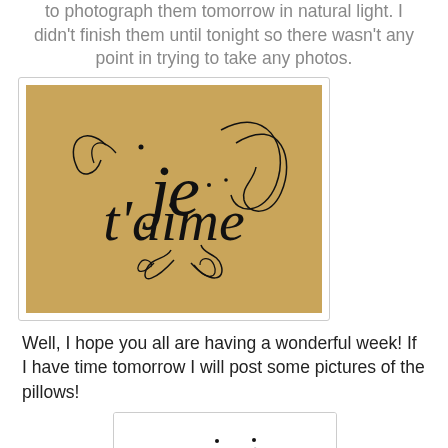to photograph them tomorrow in natural light. I didn't finish them until tonight so there wasn't any point in trying to take any photos.
[Figure (photo): Calligraphy text 'je t'aime' in ornate script on kraft brown paper background]
Well, I hope you all are having a wonderful week! If I have time tomorrow I will post some pictures of the pillows!
[Figure (photo): Handwritten signature 'jennifer' in cursive script on white background]